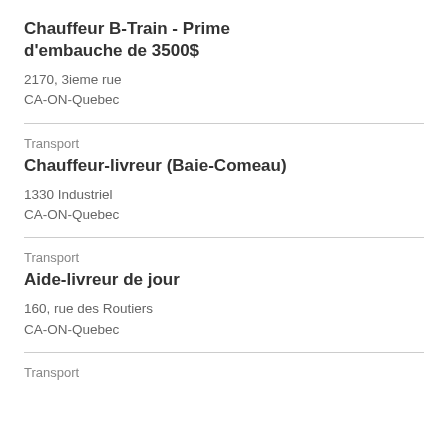Chauffeur B-Train - Prime d'embauche de 3500$
2170, 3ieme rue
CA-ON-Quebec
Transport
Chauffeur-livreur (Baie-Comeau)
1330 Industriel
CA-ON-Quebec
Transport
Aide-livreur de jour
160, rue des Routiers
CA-ON-Quebec
Transport